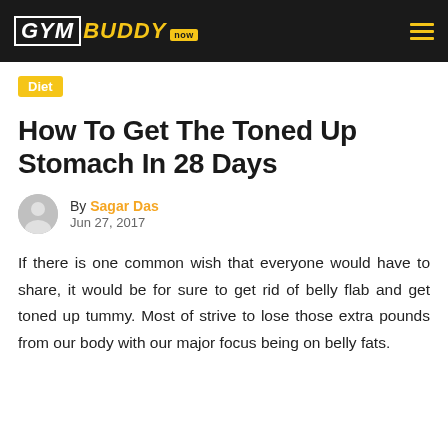GYM BUDDY now
Diet
How To Get The Toned Up Stomach In 28 Days
By Sagar Das
Jun 27, 2017
If there is one common wish that everyone would have to share, it would be for sure to get rid of belly flab and get toned up tummy. Most of strive to lose those extra pounds from our body with our major focus being on belly fats.